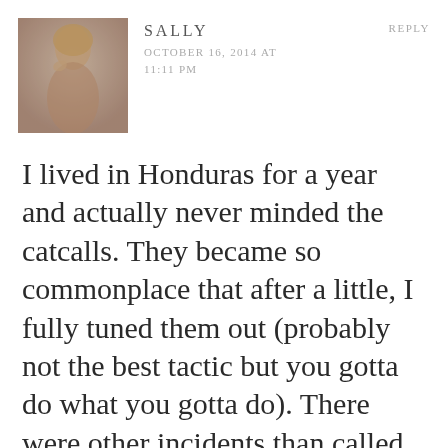[Figure (photo): Small profile photo of a woman with blonde hair, slightly blurred, warm tones]
SALLY OCTOBER 16, 2014 AT 11:11 PM REPLY
I lived in Honduras for a year and actually never minded the catcalls. They became so commonplace that after a little, I fully tuned them out (probably not the best tactic but you gotta do what you gotta do). There were other incidents than called my feminism forth, full on, unlike I've ever felt before.